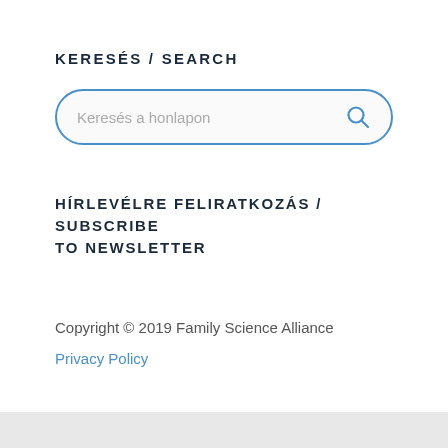KERESÉS / SEARCH
[Figure (other): Search input box with placeholder text 'Keresés a honlapon' and a search icon on the right, rounded border in blue]
HÍRLEVÉLRE FELIRATKOZÁS / SUBSCRIBE TO NEWSLETTER
Copyright © 2019 Family Science Alliance
Privacy Policy